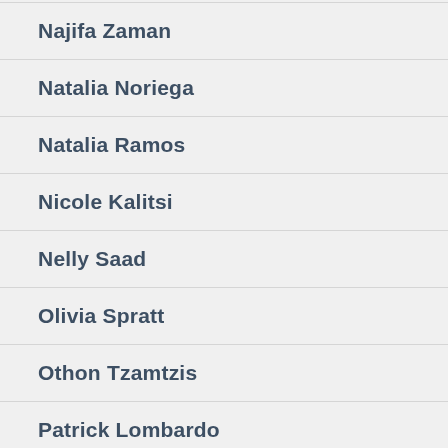Najifa Zaman
Natalia Noriega
Natalia Ramos
Nicole Kalitsi
Nelly Saad
Olivia Spratt
Othon Tzamtzis
Patrick Lombardo
Patrick Sh...